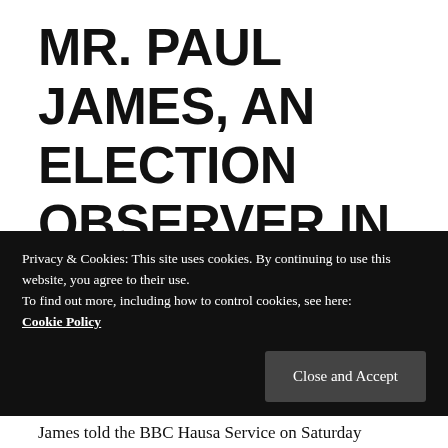MR. PAUL JAMES, AN ELECTION OBSERVER IN EKITI STATE, FROM YIAGA, HAS INSISTED THAT PEOPLE SOLD THEIR VOTES DURING SATURDAY'S
Privacy & Cookies: This site uses cookies. By continuing to use this website, you agree to their use.
To find out more, including how to control cookies, see here: Cookie Policy
James told the BBC Hausa Service on Saturday